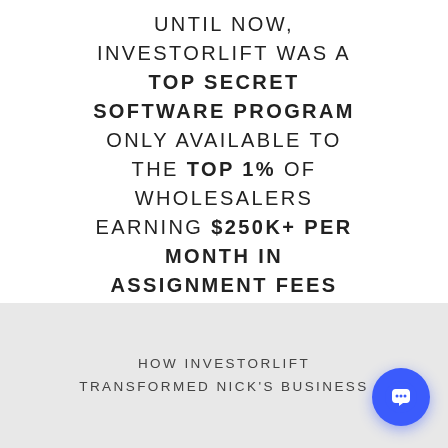UNTIL NOW, INVESTORLIFT WAS A TOP SECRET SOFTWARE PROGRAM ONLY AVAILABLE TO THE TOP 1% OF WHOLESALERS EARNING $250K+ PER MONTH IN ASSIGNMENT FEES FOR A PRICE OF $10K+ PER MONTH!
HOW INVESTORLIFT TRANSFORMED NICK'S BUSINESS